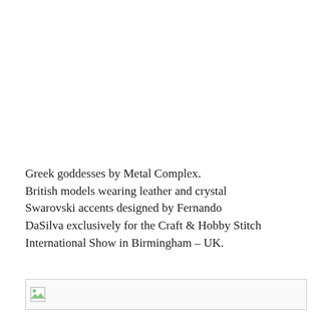Greek goddesses by Metal Complex. British models wearing leather and crystal Swarovski accents designed by Fernando DaSilva exclusively for the Craft & Hobby Stitch International Show in Birmingham – UK.
[Figure (photo): Broken/missing image placeholder with small image icon in top-left corner]